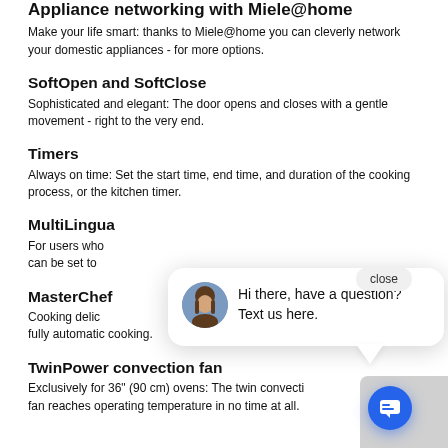Appliance networking with Miele@home
Make your life smart: thanks to Miele@home you can cleverly network your domestic appliances - for more options.
SoftOpen and SoftClose
Sophisticated and elegant: The door opens and closes with a gentle movement - right to the very end.
Timers
Always on time: Set the start time, end time, and duration of the cooking process, or the kitchen timer.
MultiLingua
For users who can be set to
MasterChef
Cooking delic fully automatic cooking.
TwinPower convection fan
Exclusively for 36" (90 cm) ovens: The twin convection fan reaches operating temperature in no time at all.
[Figure (screenshot): Chat popup overlay showing a female avatar and message 'Hi there, have a question? Text us here.' with a close button and blue chat FAB button.]